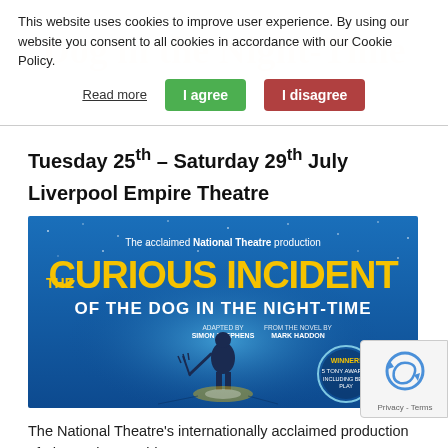This website uses cookies to improve user experience. By using our website you consent to all cookies in accordance with our Cookie Policy.
Read more | I agree | I disagree
Tuesday 25th – Saturday 29th July
Liverpool Empire Theatre
[Figure (photo): Promotional poster for The Curious Incident of the Dog in the Night-Time. Blue background with a figure of a man holding a pitchfork-like object, yellow and white large text reading 'THE CURIOUS INCIDENT OF THE DOG IN THE NIGHT-TIME', with 'The acclaimed National Theatre production' at the top. A Tony Award winner badge is visible.]
The National Theatre's internationally acclaimed production of The Curious Incident